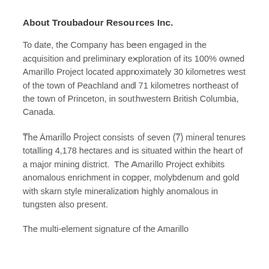About Troubadour Resources Inc.
To date, the Company has been engaged in the acquisition and preliminary exploration of its 100% owned Amarillo Project located approximately 30 kilometres west of the town of Peachland and 71 kilometres northeast of the town of Princeton, in southwestern British Columbia, Canada.
The Amarillo Project consists of seven (7) mineral tenures totalling 4,178 hectares and is situated within the heart of a major mining district.  The Amarillo Project exhibits anomalous enrichment in copper, molybdenum and gold with skarn style mineralization highly anomalous in tungsten also present.
The multi-element signature of the Amarillo